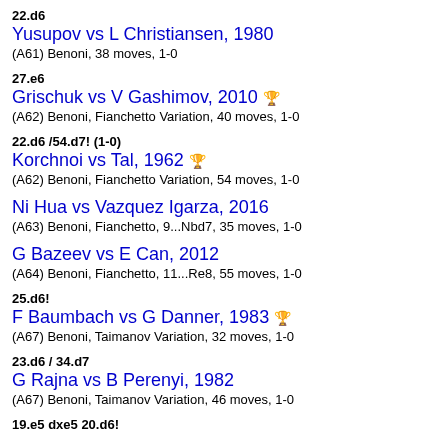22.d6
Yusupov vs L Christiansen, 1980
(A61) Benoni, 38 moves, 1-0
27.e6
Grischuk vs V Gashimov, 2010
(A62) Benoni, Fianchetto Variation, 40 moves, 1-0
22.d6 /54.d7! (1-0)
Korchnoi vs Tal, 1962
(A62) Benoni, Fianchetto Variation, 54 moves, 1-0
Ni Hua vs Vazquez Igarza, 2016
(A63) Benoni, Fianchetto, 9...Nbd7, 35 moves, 1-0
G Bazeev vs E Can, 2012
(A64) Benoni, Fianchetto, 11...Re8, 55 moves, 1-0
25.d6!
F Baumbach vs G Danner, 1983
(A67) Benoni, Taimanov Variation, 32 moves, 1-0
23.d6 / 34.d7
G Rajna vs B Perenyi, 1982
(A67) Benoni, Taimanov Variation, 46 moves, 1-0
19.e5 dxe5 20.d6!